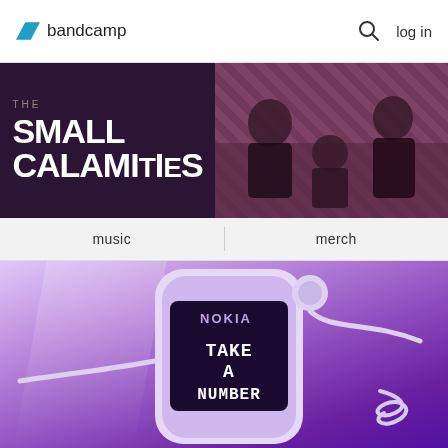bandcamp  log in
[Figure (photo): Band header split image: left side shows 'THE SMALL CALAMITIES' logo text on dark purple background; right side shows three band members sitting on a couch with patterned wallpaper]
music   merch
[Figure (photo): Purple-toned photo of a Nokia phone with corded earphone. Phone screen displays pixelated white text reading 'TAKE A NUMBER']